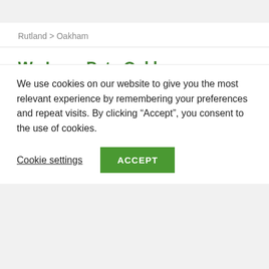Rutland > Oakham
We Love Pets Oakham
[Figure (illustration): Partial view of a We Love Pets logo showing a dark brown house/roof silhouette illustration, partially cut off at the bottom of the visible area.]
We use cookies on our website to give you the most relevant experience by remembering your preferences and repeat visits. By clicking “Accept”, you consent to the use of cookies.
Cookie settings
ACCEPT